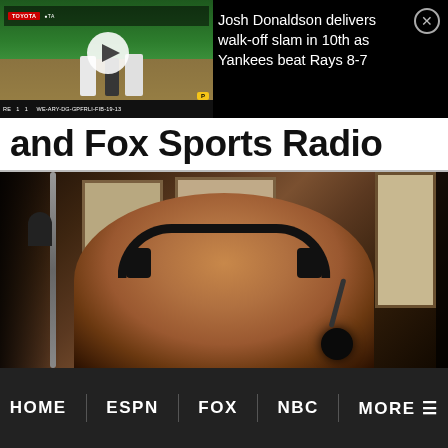[Figure (screenshot): Video thumbnail of baseball game with play button overlay, showing players on field with Toyota sponsor banner. Score bar at bottom.]
Josh Donaldson delivers walk-off slam in 10th as Yankees beat Rays 8-7
and Fox Sports Radio
[Figure (photo): Radio sports host smiling with headphones and microphone in a studio with framed photos on the wall in the background.]
HOME   ESPN   FOX   NBC   MORE